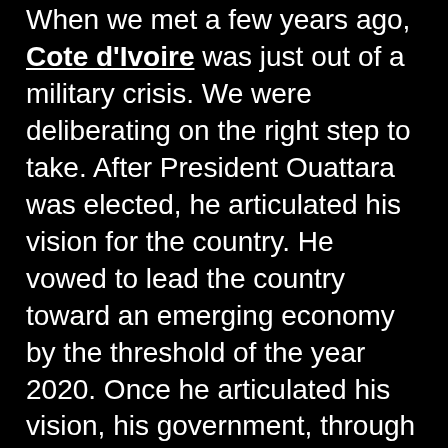When we met a few years ago, Cote d'Ivoire was just out of a military crisis. We were deliberating on the right step to take. After President Ouattara was elected, he articulated his vision for the country. He vowed to lead the country toward an emerging economy by the threshold of the year 2020. Once he articulated his vision, his government, through the Ministry of Economic Infrastructures, the department in charge of the road sector, converted that vision into a manageable strategy. Once that was done, at Ageroute, the country's road management agency, in charge of both the maintenance of the existing network and the construction of new roads, our role is to implement that strategy on the ground. To summarize, at this point, we have a clear strategy, which has been converted into a road program.
The 2011-2015 road program was the most ambitious in the country's recent history. It is being implemented as planned. Thanks to the key economic and structural reforms carried out by the government to improve the business environment, among other contributions,